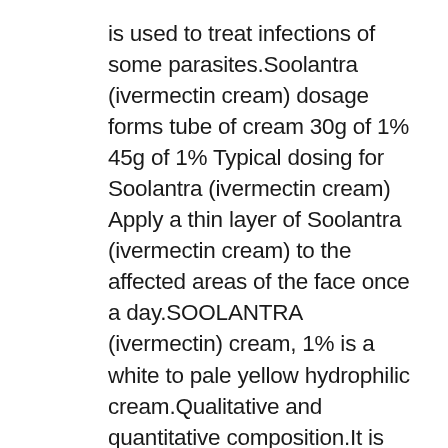is used to treat infections of some parasites.Soolantra (ivermectin cream) dosage forms tube of cream 30g of 1% 45g of 1% Typical dosing for Soolantra (ivermectin cream) Apply a thin layer of Soolantra (ivermectin cream) to the affected areas of the face once a day.SOOLANTRA (ivermectin) cream, 1% is a white to pale yellow hydrophilic cream.Qualitative and quantitative composition.It is intended for topical use.Its mechanism of action is unknown1 but may be due to a.In one US study, patients saw 27% fewer bumps and blemishes after 2 weeks, and up to 75% fewer symptoms after 12 weeks Soolantra (ivermectin cream) is only meant to be used on your face.Follow product-specific instructions for length of application and product removal Soolantra 10 mg Qualitative and quantitative composition.Publication types Review